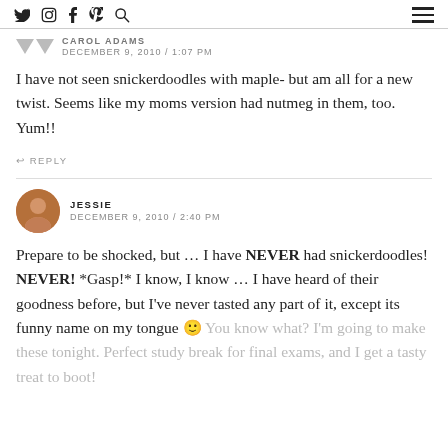Social media icons and navigation menu
CAROL ADAMS
DECEMBER 9, 2010 / 1:07 PM
I have not seen snickerdoodles with maple- but am all for a new twist. Seems like my moms version had nutmeg in them, too. Yum!!
REPLY
JESSIE
DECEMBER 9, 2010 / 2:40 PM
Prepare to be shocked, but … I have NEVER had snickerdoodles! NEVER! *Gasp!* I know, I know … I have heard of their goodness before, but I've never tasted any part of it, except its funny name on my tongue 🙂 You know what? I'm going to make these tonight. Perfect study break for final exams, and I get a tasty treat to boot!